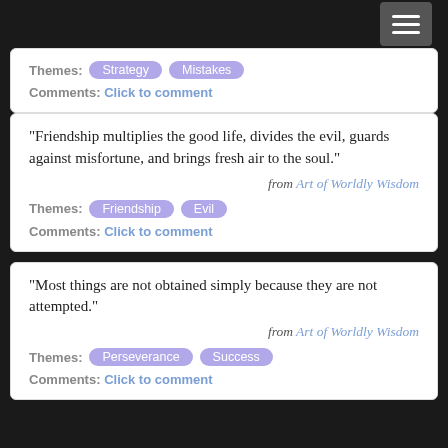Themes: Strategy  Mistakes
Comments: Click to comment
“Friendship multiplies the good life, divides the evil, guards against misfortune, and brings fresh air to the soul.”
from Art of Worldly Wisdom
Themes: Friendship  Evil
Comments: Click to comment
“Most things are not obtained simply because they are not attempted.”
from Art of Worldly Wisdom
Themes: Perseverance  Success
Comments: Click to comment